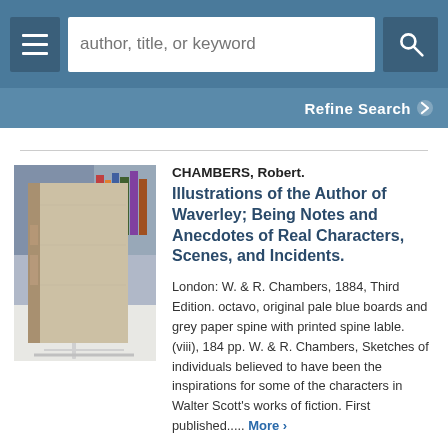author, title, or keyword [search bar] | Refine Search
[Figure (photo): Photo of an old book standing upright on a book stand, showing the spine and back cover. The book has pale blue/grey boards with a grey paper spine.]
CHAMBERS, Robert.
Illustrations of the Author of Waverley; Being Notes and Anecdotes of Real Characters, Scenes, and Incidents.
London: W. & R. Chambers, 1884, Third Edition. octavo, original pale blue boards and grey paper spine with printed spine lable. (viii), 184 pp. W. & R. Chambers, Sketches of individuals believed to have been the inspirations for some of the characters in Walter Scott's works of fiction. First published..... More ›